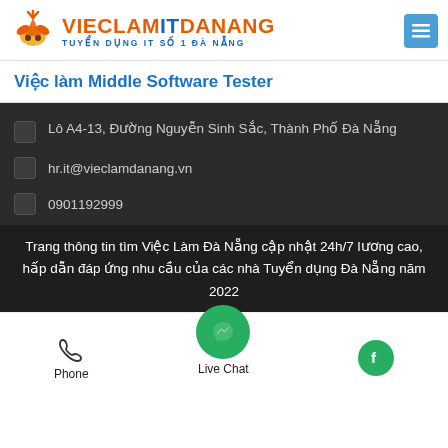VIECLAMITDANANG – TUYEN DUNG IT SO 1 DA NANG
Việc làm Middle Software Tester
Lô A4-13, Đường Nguyễn Sinh Sắc, Thành Phố Đà Nẵng
hr.it@vieclamdanang.vn
0901192999
Trang thông tin tìm Việc Làm Đà Nẵng cập nhật 24h/7 lương cao, hấp dẫn đáp ứng nhu cầu của các nhà Tuyển dụng Đà Nẵng năm 2022
Phone | Live Chat | Facebook